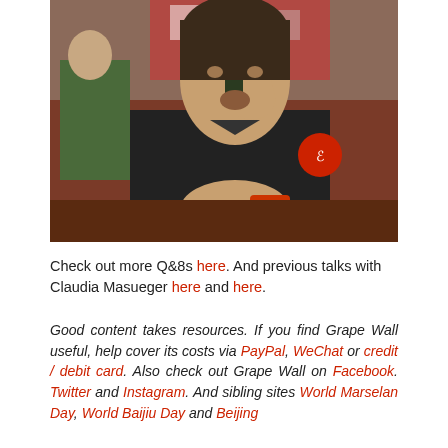[Figure (photo): A person in a black shirt holding up a dark wine bottle in a restaurant setting, appearing to open or present it. A red circular logo is visible on their shirt. Another person is visible in the background.]
Check out more Q&8s here. And previous talks with Claudia Masueger here and here.
Good content takes resources. If you find Grape Wall useful, help cover its costs via PayPal, WeChat or credit / debit card. Also check out Grape Wall on Facebook. Twitter and Instagram. And sibling sites World Marselan Day, World Baijiu Day and Beijing